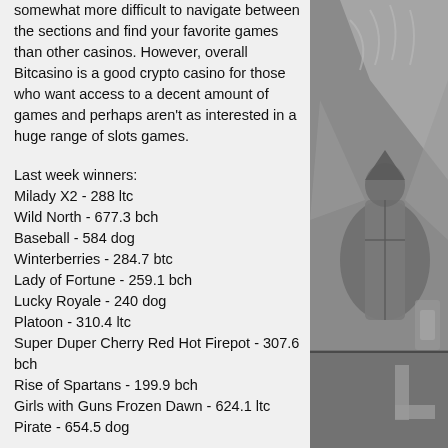somewhat more difficult to navigate between the sections and find your favorite games than other casinos. However, overall Bitcasino is a good crypto casino for those who want access to a decent amount of games and perhaps aren't as interested in a huge range of slots games.
Last week winners:
Milady X2 - 288 ltc
Wild North - 677.3 bch
Baseball - 584 dog
Winterberries - 284.7 btc
Lady of Fortune - 259.1 bch
Lucky Royale - 240 dog
Platoon - 310.4 ltc
Super Duper Cherry Red Hot Firepot - 307.6 bch
Rise of Spartans - 199.9 bch
Girls with Guns Frozen Dawn - 624.1 ltc
Pirate - 654.5 dog
[Figure (illustration): Grayscale illustration of a knight or warrior figure with shield and decorative elements]